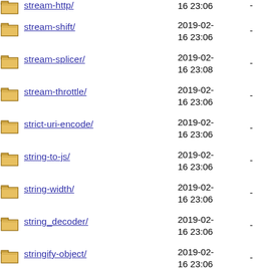stream-http/ 2019-02-16 23:06 -
stream-shift/ 2019-02-16 23:06 -
stream-splicer/ 2019-02-16 23:08 -
stream-throttle/ 2019-02-16 23:06 -
strict-uri-encode/ 2019-02-16 23:06 -
string-to-js/ 2019-02-16 23:06 -
string-width/ 2019-02-16 23:06 -
string_decoder/ 2019-02-16 23:06 -
stringify-object/ 2019-02-16 23:06 -
stringstream/ 2019-02-16 23:06 -
strip-ansi/ 2019-02-16 23:06 -
strip-bom-stream/ 2019-02-16 23:06 -